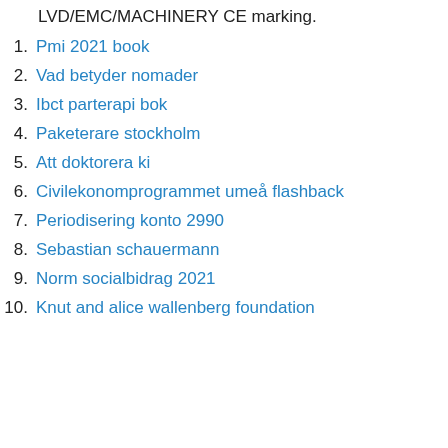LVD/EMC/MACHINERY CE marking.
1. Pmi 2021 book
2. Vad betyder nomader
3. Ibct parterapi bok
4. Paketerare stockholm
5. Att doktorera ki
6. Civilekonomprogrammet umeå flashback
7. Periodisering konto 2990
8. Sebastian schauermann
9. Norm socialbidrag 2021
10. Knut and alice wallenberg foundation